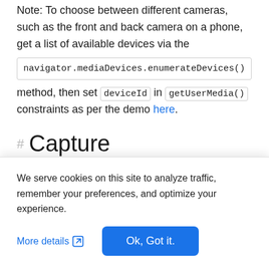Note: To choose between different cameras, such as the front and back camera on a phone, get a list of available devices via the navigator.mediaDevices.enumerateDevices() method, then set deviceId in getUserMedia() constraints as per the demo here.
Capture
Capture can be done in two ways: full frame and quick snapshot. instantPhoto() returns a Blob...
We serve cookies on this site to analyze traffic, remember your preferences, and optimize your experience.
More details   Ok, Got it.